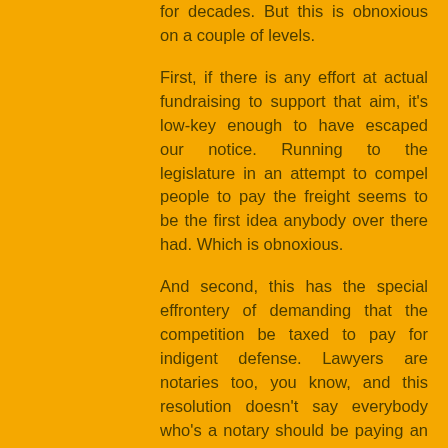for decades. But this is obnoxious on a couple of levels.
First, if there is any effort at actual fundraising to support that aim, it's low-key enough to have escaped our notice. Running to the legislature in an attempt to compel people to pay the freight seems to be the first idea anybody over there had. Which is obnoxious.
And second, this has the special effrontery of demanding that the competition be taxed to pay for indigent defense. Lawyers are notaries too, you know, and this resolution doesn't say everybody who's a notary should be paying an increase in the license fee – it says non-attorney notaries should be